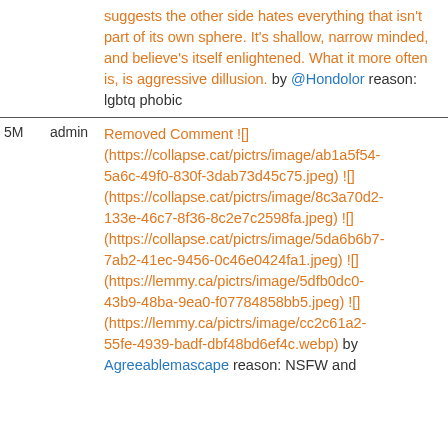| time | user | content |
| --- | --- | --- |
|  |  | suggests the other side hates everything that isn't part of its own sphere. It's shallow, narrow minded, and believe's itself enlightened. What it more often is, is aggressive dillusion. by @Hondolor reason: lgbtq phobic |
| 5M | admin | Removed Comment ![] (https://collapse.cat/pictrs/image/ab1a5f54-5a6c-49f0-830f-3dab73d45c75.jpeg) ![] (https://collapse.cat/pictrs/image/8c3a70d2-133e-46c7-8f36-8c2e7c2598fa.jpeg) ![] (https://collapse.cat/pictrs/image/5da6b6b7-7ab2-41ec-9456-0c46e0424fa1.jpeg) ![] (https://lemmy.ca/pictrs/image/5dfb0dc0-43b9-48ba-9ea0-f07784858bb5.jpeg) ![] (https://lemmy.ca/pictrs/image/cc2c61a2-55fe-4939-badf-dbf48bd6ef4c.webp) by Agreeablemascape reason: NSFW and |